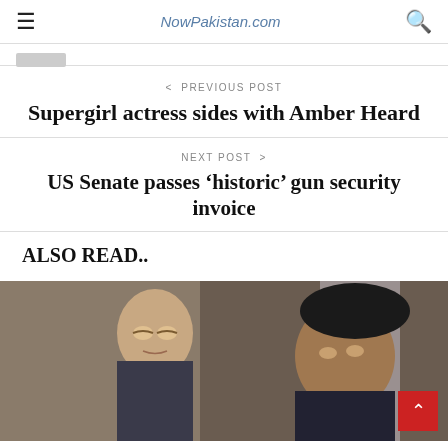≡  NowPakistan.com  🔍
< PREVIOUS POST
Supergirl actress sides with Amber Heard
NEXT POST >
US Senate passes 'historic' gun security invoice
ALSO READ..
[Figure (photo): Photo of two people, a man on the left (Prince William) and a woman on the right, partially visible]